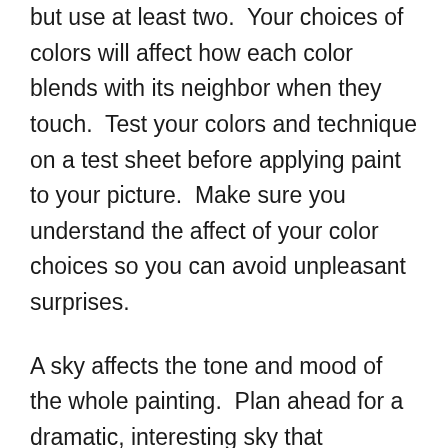but use at least two.  Your choices of colors will affect how each color blends with its neighbor when they touch.  Test your colors and technique on a test sheet before applying paint to your picture.  Make sure you understand the affect of your color choices so you can avoid unpleasant surprises.
A sky affects the tone and mood of the whole painting.  Plan ahead for a dramatic, interesting sky that integrates well with the rest of your picture.  The sky will suggest proper placement for shadows and even some of the colors you should use throughout your painting.  For example, strong Mediterranean sunlight will create harder lines and sharper contrast than a misty morning in the Scottish Highlands.  Don't be afraid to use your